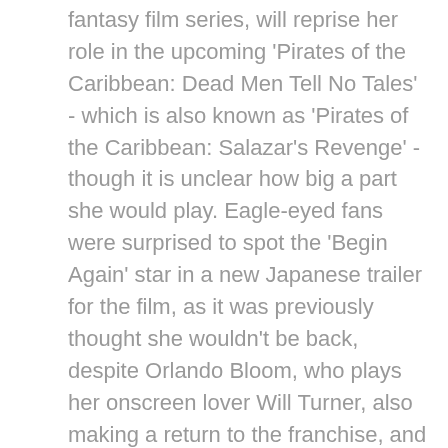fantasy film series, will reprise her role in the upcoming 'Pirates of the Caribbean: Dead Men Tell No Tales' - which is also known as 'Pirates of the Caribbean: Salazar's Revenge' - though it is unclear how big a part she would play. Eagle-eyed fans were surprised to spot the 'Begin Again' star in a new Japanese trailer for the film, as it was previously thought she wouldn't be back, despite Orlando Bloom, who plays her onscreen lover Will Turner, also making a return to the franchise, and Brenton Thwaites cast as their teenage son Henry. The new trailer, which features Japanese narration, shows clips of the film scenes, including one of Knightley as Elizabeth, in which she can be seen doing something off camera wearing a corset dress with her hair in curls, although that is all that can be seen before the camera flicks